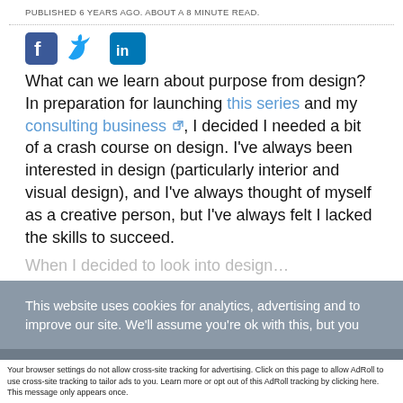PUBLISHED 6 YEARS AGO. ABOUT A 8 MINUTE READ.
[Figure (illustration): Social media share icons: Facebook (blue square with f), Twitter (blue bird), LinkedIn (blue square with in)]
What can we learn about purpose from design? In preparation for launching this series and my consulting business, I decided I needed a bit of a crash course on design. I've always been interested in design (particularly interior and visual design), and I've always thought of myself as a creative person, but I've always felt I lacked the skills to succeed.
This website uses cookies for analytics, advertising and to improve our site. We'll assume you're ok with this, but you
Accept and Close ✕
Your browser settings do not allow cross-site tracking for advertising. Click on this page to allow AdRoll to use cross-site tracking to tailor ads to you. Learn more or opt out of this AdRoll tracking by clicking here. This message only appears once.